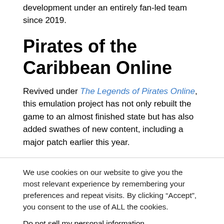development under an entirely fan-led team since 2019.
Pirates of the Caribbean Online
Revived under The Legends of Pirates Online, this emulation project has not only rebuilt the game to an almost finished state but has also added swathes of new content, including a major patch earlier this year.
We use cookies on our website to give you the most relevant experience by remembering your preferences and repeat visits. By clicking “Accept”, you consent to the use of ALL the cookies.
Do not sell my personal information.
Cookie Settings | Accept